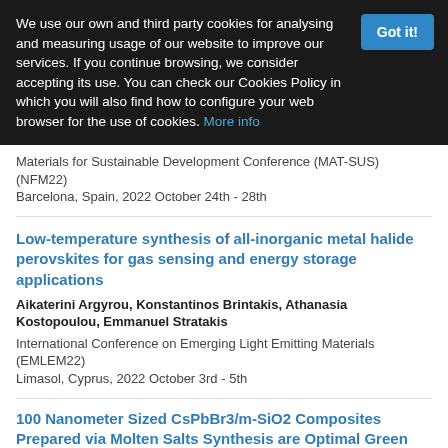We use our own and third party cookies for analysing and measuring usage of our website to improve our services. If you continue browsing, we consider accepting its use. You can check our Cookies Policy in which you will also find how to configure your web browser for the use of cookies. More info
Materials for Sustainable Development Conference (MAT-SUS) (NFM22)
Barcelona, Spain, 2022 October 24th - 28th
Low-temperature synthesis of all-inorganic metal halide perovskites for gas sensing and energy storage applications
Aikaterini Argyrou, Konstantinos Brintakis, Athanasia Kostopoulou, Emmanuel Stratakis
International Conference on Emerging Light Emitting Materials (EMLEM22)
Limasol, Cyprus, 2022 October 3rd - 5th
100 Nanometer Sized CsPbBr3/m-SiO2 Composites Prepared via Molten Salts Synthesis are Optimal Green Phosphors for